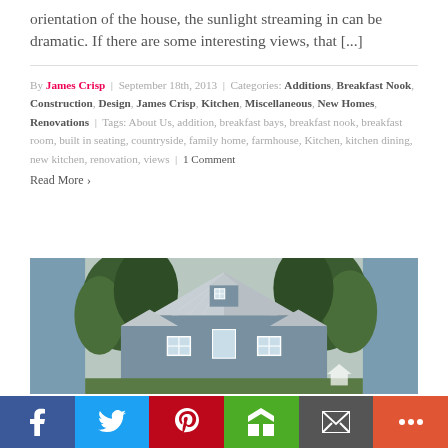orientation of the house, the sunlight streaming in can be dramatic. If there are some interesting views, that [...]
By James Crisp | September 18th, 2013 | Categories: Additions, Breakfast Nook, Construction, Design, James Crisp, Kitchen, Miscellaneous, New Homes, Renovations | Tags: About Us, addition, breakfast bays, breakfast nook, breakfast room, built in seating, countryside, family home, farmhouse, Kitchen, kitchen dining, new kitchen, renovation, views | 1 Comment
Read More ›
[Figure (photo): Exterior photo of a blue-gray farmhouse with metal roof, dormer windows, and trees in background]